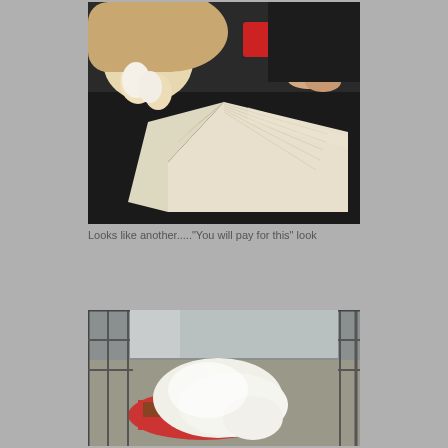[Figure (photo): A dog placing its paw on an open book being read by a person. The book pages are fanned open. A red mug is visible in the background. The dog appears to be interrupting the reading.]
Looks like another...."You will pay for this" look
[Figure (photo): A white/cream colored dog curled up sleeping inside a metal wire crate/cage. The dog is lying on a colorful blanket or toy. The crate bars are visible around the dog.]